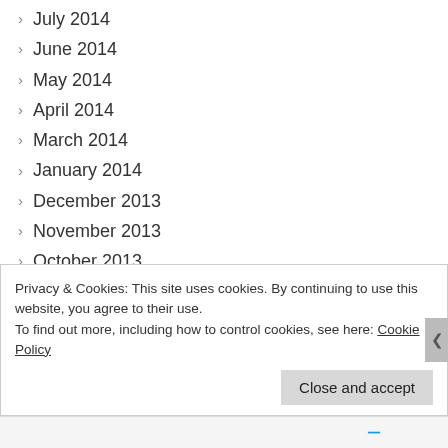July 2014
June 2014
May 2014
April 2014
March 2014
January 2014
December 2013
November 2013
October 2013
August 2013
July 2013
April 2013
February 2013
October 2012
May 2012
Privacy & Cookies: This site uses cookies. By continuing to use this website, you agree to their use.
To find out more, including how to control cookies, see here: Cookie Policy
Close and accept